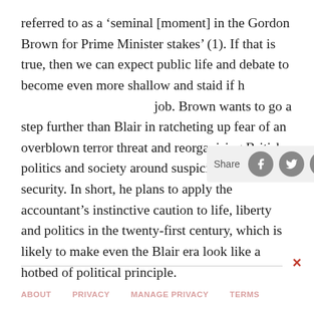referred to as a ‘seminal [moment] in the Gordon Brown for Prime Minister stakes’ (1). If that is true, then we can expect public life and debate to become even more shallow and staid if h job. Brown wants to go a step further than Blair in ratcheting up fear of an overblown terror threat and reorganising British politics and society around suspicion and security. In short, he plans to apply the accountant’s instinctive caution to life, liberty and politics in the twenty-first century, which is likely to make even the Blair era look like a hotbed of political principle.
ABOUT   PRIVACY   MANAGE PRIVACY   TERMS